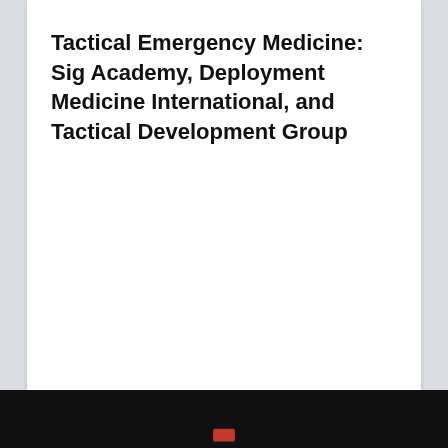Tactical Emergency Medicine: Sig Academy, Deployment Medicine International, and Tactical Development Group